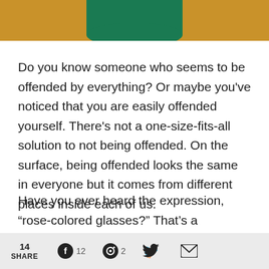[Figure (photo): Top portion of a hero image showing a green draped fabric/dress against a golden/amber background]
Do you know someone who seems to be offended by everything? Or maybe you've noticed that you are easily offended yourself. There's not a one-size-fits-all solution to not being offended. On the surface, being offended looks the same in everyone but it comes from different places inside each of us.
Have you ever heard the expression, “rose-colored glasses?” That’s a reference to the way a person
14 SHARE   12   2